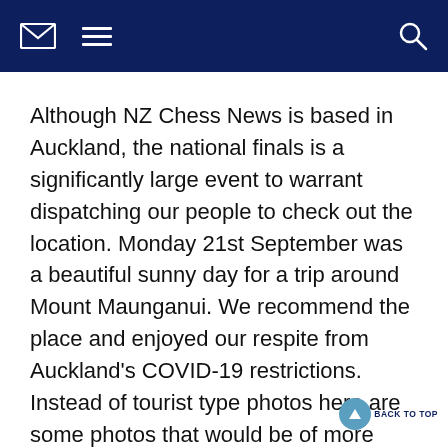NZ Chess News navigation bar with envelope, hamburger menu, and search icons
Although NZ Chess News is based in Auckland, the national finals is a significantly large event to warrant dispatching our people to check out the location. Monday 21st September was a beautiful sunny day for a trip around Mount Maunganui. We recommend the place and enjoyed our respite from Auckland's COVID-19 restrictions. Instead of tourist type photos here are some photos that would be of more practical use for those who come here.